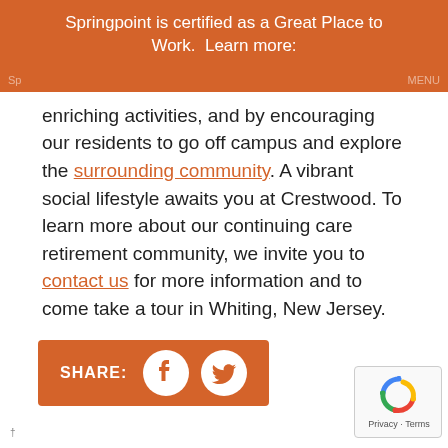Springpoint is certified as a Great Place to Work.  Learn more:
enriching activities, and by encouraging our residents to go off campus and explore the surrounding community. A vibrant social lifestyle awaits you at Crestwood. To learn more about our continuing care retirement community, we invite you to contact us for more information and to come take a tour in Whiting, New Jersey.
[Figure (infographic): Orange share bar with SHARE: label and Facebook and Twitter social media icons]
[Figure (other): Google reCAPTCHA badge with Privacy and Terms links]